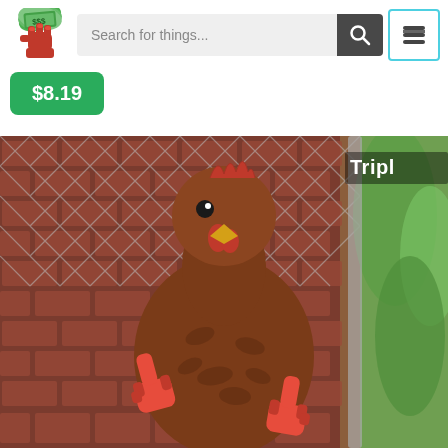[Figure (screenshot): App header with logo (hand holding money), search bar with text 'Search for things...', search button, and hamburger menu button with cyan border]
$8.19
[Figure (photo): A rooster/chicken in front of a chain-link fence with brick wall background, holding red middle finger props in both wings. Partially visible text 'Tripl' in top right corner.]